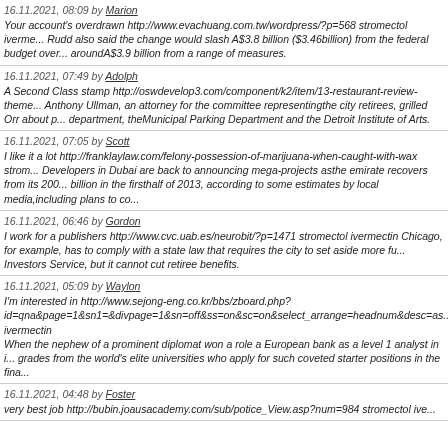16.11.2021, 08:09 by Marion
Your account's overdrawn http://www.evachuang.com.tw/wordpress/?p=568 stromectol iverme... Rudd also said the change would slash A$3.8 billion ($3.46billion) from the federal budget over... aroundA$3.9 billion from a range of measures.
16.11.2021, 07:49 by Adolph
A Second Class stamp http://oswdevelop3.com/component/k2/item/13-restaurant-review-theme... Anthony Ullman, an attorney for the committee representingthe city retirees, grilled Orr about p... department, theMunicipal Parking Department and the Detroit Institute of Arts.
16.11.2021, 07:05 by Scott
I like it a lot http://franklaylaw.com/felony-possession-of-marijuana-when-caught-with-wax strom... Developers in Dubai are back to announcing mega-projects asthe emirate recovers from its 200... billion in the firsthalf of 2013, according to some estimates by local media,including plans to co...
16.11.2021, 06:46 by Gordon
I work for a publishers http://www.cvc.uab.es/neurobit/?p=1471 stromectol ivermectin Chicago, for example, has to comply with a state law that requires the city to set aside more fu... Investors Service, but it cannot cut retiree benefits.
16.11.2021, 05:09 by Waylon
I'm interested in http://www.sejong-eng.co.kr/bbs/zboard.php?id=qna&page=1&sn1=&divpage=1&sn=off&ss=on&sc=on&select_arrange=headnum&desc=as... ivermectin When the nephew of a prominent diplomat won a role a European bank as a level 1 analyst in i... grades from the world's elite universities who apply for such coveted starter positions in the fina...
16.11.2021, 04:48 by Foster
very best job http://bubin.joausacademy.com/sub/potice_View.asp?num=984 stromectol ive...